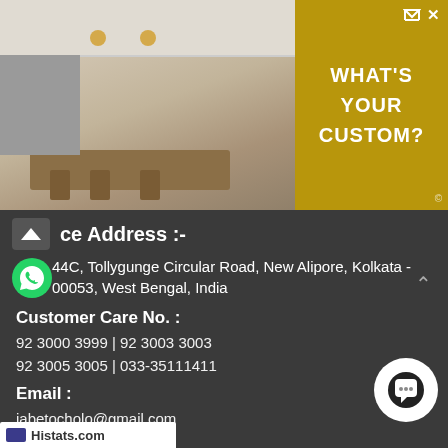[Figure (photo): Advertisement banner showing a kitchen photo on the left and gold background with text 'WHAT'S YOUR CUSTOM?' on the right]
ce Address :-
44C, Tollygunge Circular Road, New Alipore, Kolkata - 00053, West Bengal, India
Customer Care No. :
92 3000 3999 | 92 3003 3003
92 3005 3005 | 033-35111411
Email :
jabetocholo@gmail.com
Other Website :
www.allbooking.in
Histats.com